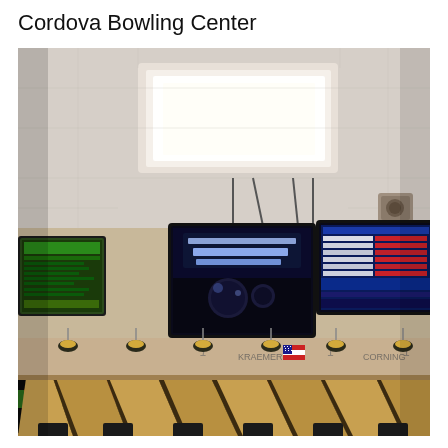Cordova Bowling Center
[Figure (photo): Interior photo of Cordova Bowling Center showing bowling lanes in the foreground, hanging TV monitors displaying the Cordova Bowling Center logo and a scoring screen, a large LED ceiling light panel, and bowling lane ball return areas with colorful bowling balls visible at the far end.]